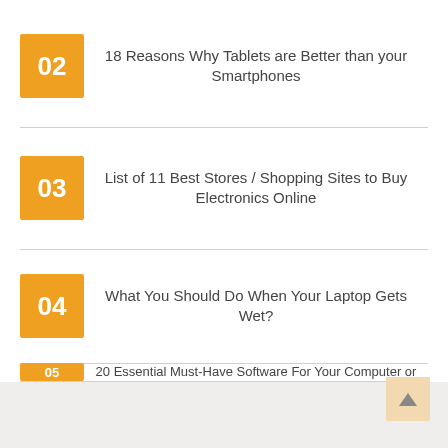02 18 Reasons Why Tablets are Better than your Smartphones
03 List of 11 Best Stores / Shopping Sites to Buy Electronics Online
04 What You Should Do When Your Laptop Gets Wet?
05 20 Essential Must-Have Software For Your Computer or Laptop